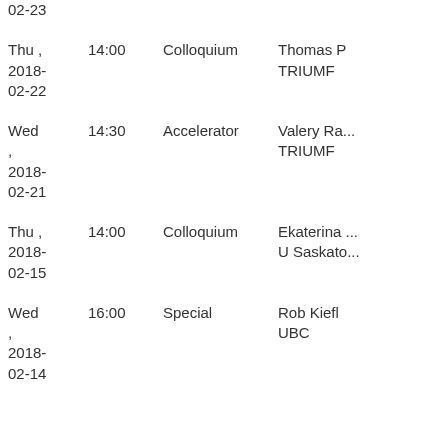| Date | Time | Type | Who |
| --- | --- | --- | --- |
| Thu , 2018-02-22 | 14:00 | Colloquium | Thomas P
TRIUMF |
| Wed , 2018-02-21 | 14:30 | Accelerator | Valery Ra...
TRIUMF |
| Thu , 2018-02-15 | 14:00 | Colloquium | Ekaterina ...
U Saskato... |
| Wed , 2018-02-14 | 16:00 | Special | Rob Kiefl
UBC |